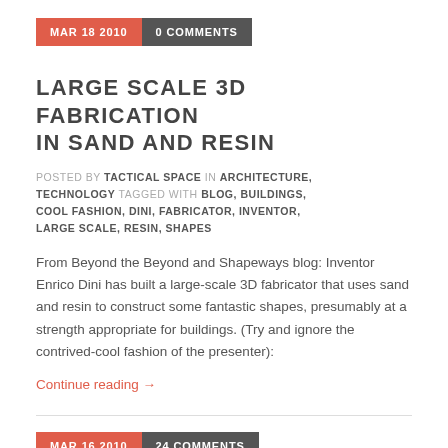MAR 18 2010  0 COMMENTS
LARGE SCALE 3D FABRICATION IN SAND AND RESIN
POSTED BY TACTICAL SPACE IN ARCHITECTURE, TECHNOLOGY TAGGED WITH BLOG, BUILDINGS, COOL FASHION, DINI, FABRICATOR, INVENTOR, LARGE SCALE, RESIN, SHAPES
From Beyond the Beyond and Shapeways blog: Inventor Enrico Dini has built a large-scale 3D fabricator that uses sand and resin to construct some fantastic shapes, presumably at a strength appropriate for buildings. (Try and ignore the contrived-cool fashion of the presenter):
Continue reading →
MAR 16 2010  24 COMMENTS